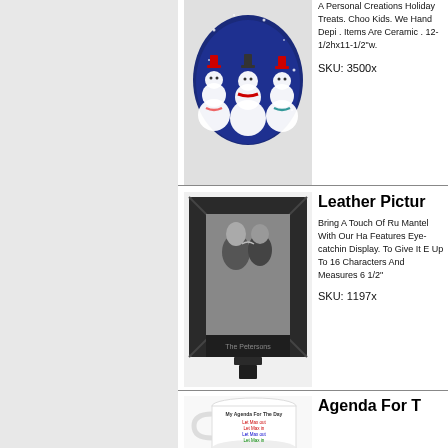[Figure (photo): Ceramic holiday snowman platter with blue background and three snowmen figures]
A Personal Creations Holiday Treats. Choo Kids. We Hand Depi . Items Are Ceramic . 12-1/2hx11-1/2"w.
SKU: 3500x
[Figure (photo): Leather picture frame in dark color with a black and white photo of a couple, with personalization text 'The Petersons' at bottom]
Leather Pictur
Bring A Touch Of Ru Mantel With Our Ha Features Eye-catchin Display. To Give It E Up To 16 Characters And Measures 6 1/2"
SKU: 1197x
[Figure (photo): White ceramic coffee mug with colorful text reading My Agenda For The Day with checklist items about letting Max in and out]
Agenda For T
Who's Really The M Schedule With Our D "checklist." We Featu Again! Made Of Dis
SKU: 51151